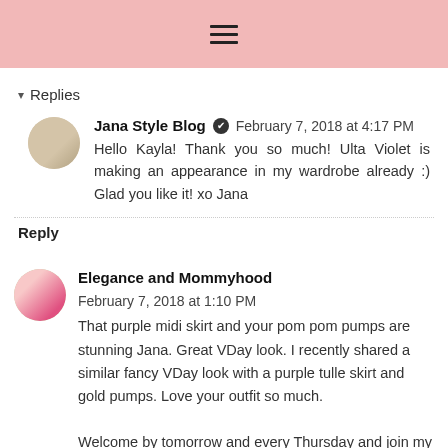≡ (hamburger menu icon)
▾ Replies
Jana Style Blog ✔ February 7, 2018 at 4:17 PM
Hello Kayla! Thank you so much! Ulta Violet is making an appearance in my wardrobe already :) Glad you like it! xo Jana
Reply
Elegance and Mommyhood February 7, 2018 at 1:10 PM
That purple midi skirt and your pom pom pumps are stunning Jana. Great VDay look. I recently shared a similar fancy VDay look with a purple tulle skirt and gold pumps. Love your outfit so much.

Welcome by tomorrow and every Thursday and join my style linkup. Thanks, Ada. =)